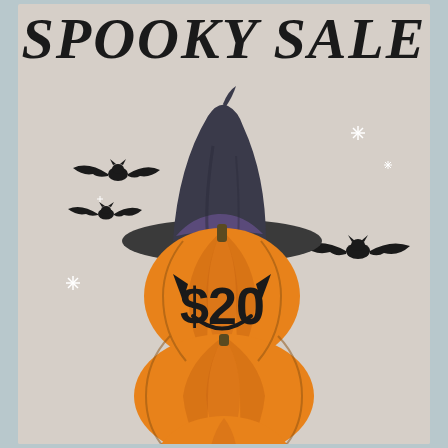SPOOKY SALE
SELECT FALL STYLES NOW:
[Figure (illustration): Stack of three orange pumpkins with a dark witch hat on top, flying black bats on both sides, sparkle stars, and '$20' text on the middle pumpkin on a beige/taupe background]